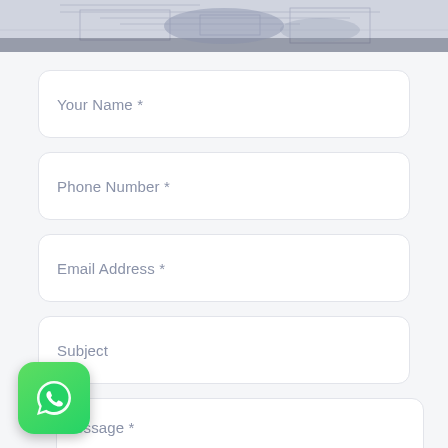[Figure (photo): Top banner showing architectural/engineering blueprints in a blue-grey toned overhead photograph]
Your Name *
Phone Number *
Email Address *
Subject
Message *
[Figure (logo): WhatsApp green app icon with white phone handset in speech bubble]